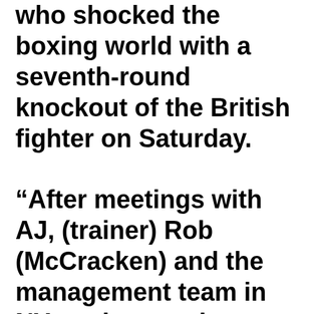who shocked the boxing world with a seventh-round knockout of the British fighter on Saturday.

“After meetings with AJ, (trainer) Rob (McCracken) and the management team in NY, we have today triggered the contracted rematch